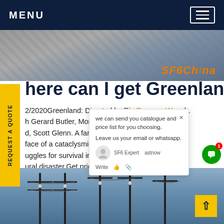MENU
[Figure (photo): Top photo strip showing brick/pavement surface with SF6China watermark label]
here can I get Greenland
2/2020Greenland: Directed by Ric Rooman Waugh. With Gerard Butler, Morena Baccarin, Roger Dale Floyd, Scott Glenn. A family struggles for survival in the face of a cataclysmic natural disaster. A family struggles for survival in the face of a cataclysmic natural disaster.Get price
[Figure (screenshot): Chat popup overlay: we can send you catalogue and price list for you choosing. Leave us your email or whatsapp. SF6 Expert, astnow, Write buttons]
[Figure (photo): Bottom photo of electrical substation with tall transmission towers and equipment]